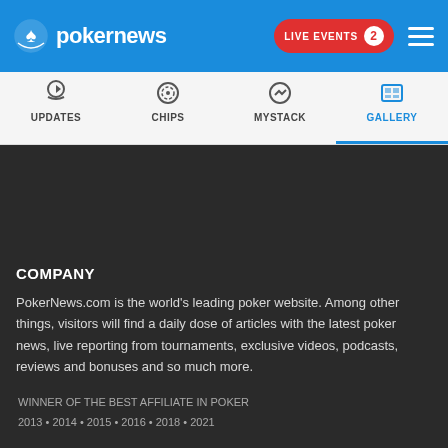pokernews | LIVE EVENTS 2
UPDATES | CHIPS | MYSTACK | GALLERY
COMPANY
PokerNews.com is the world's leading poker website. Among other things, visitors will find a daily dose of articles with the latest poker news, live reporting from tournaments, exclusive videos, podcasts, reviews and bonuses and so much more.
WINNER OF THE BEST AFFILIATE IN POKER
2013 • 2014 • 2015 • 2016 • 2018 • 2021